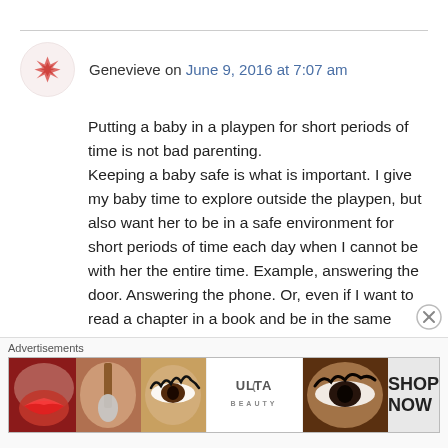Genevieve on June 9, 2016 at 7:07 am
Putting a baby in a playpen for short periods of time is not bad parenting.
Keeping a baby safe is what is important. I give my baby time to explore outside the playpen, but also want her to be in a safe environment for short periods of time each day when I cannot be with her the entire time. Example, answering the door. Answering the phone. Or, even if I want to read a chapter in a book and be in the same room with her. It’s not abuse. It’s safety and a way for a child to realize that she’s safe and
Advertisements
[Figure (photo): Ulta Beauty advertisement banner with makeup/cosmetics imagery including lips with lipstick, makeup brushes, eye makeup close-ups, and a SHOP NOW call to action]